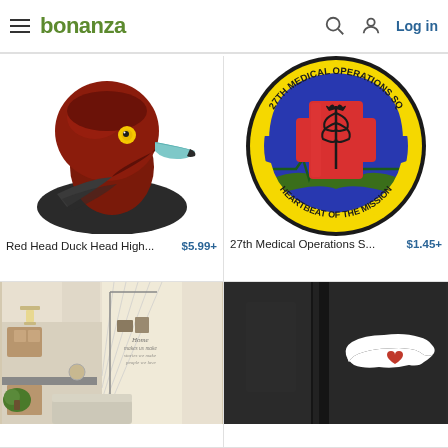bonanza   Log in
[Figure (illustration): Red head duck head illustration, side profile with blue-grey beak and yellow eye]
Red Head Duck Head High...   $5.99+
[Figure (logo): 27th Medical Operations SQ patch/logo: circular military emblem with blue background, red cross with caduceus, yellow banner reading HEARTBEAT OF THE MISSION, green landscape, dark border with text 27TH MEDICAL OPERATIONS SQ]
27th Medical Operations S...   $1.45+
[Figure (photo): Interior home photo showing living room with script wall decal reading cursive text, kitchen visible in background]
[Figure (photo): Car window with white North Carolina state shape sticker with heart]